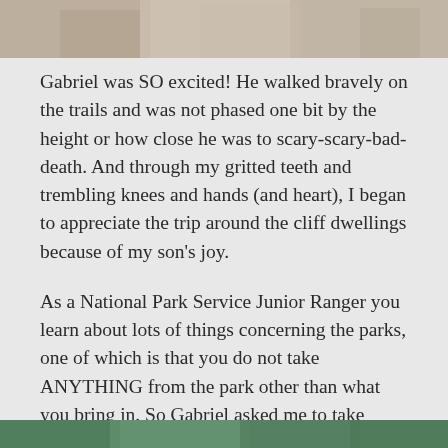[Figure (photo): Top portion of a photograph showing rocky/stone surfaces, partially cropped at top of page]
Gabriel was SO excited! He walked bravely on the trails and was not phased one bit by the height or how close he was to scary-scary-bad-death. And through my gritted teeth and trembling knees and hands (and heart), I began to appreciate the trip around the cliff dwellings because of my son’s joy.
As a National Park Service Junior Ranger you learn about lots of things concerning the parks, one of which is that you do not take ANYTHING from the park other than what you bring in. So Gabriel asked me to take pictures of about twenty different rocks that he wished he could take home with him (how adorable is that?).
[Figure (photo): Bottom portion of a photograph, partially cropped, showing green/outdoor scene]